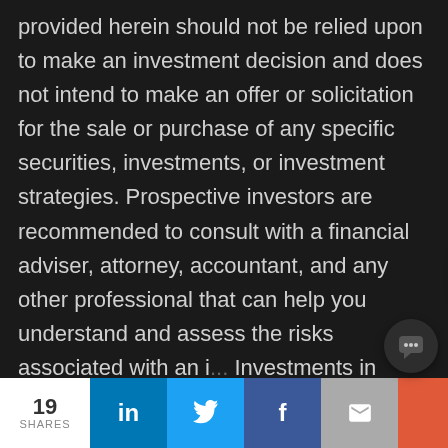provided herein should not be relied upon to make an investment decision and does not intend to make an offer or solicitation for the sale or purchase of any specific securities, investments, or investment strategies. Prospective investors are recommended to consult with a financial adviser, attorney, accountant, and any other professional that can help you understand and assess the risks associated with an [investment]. Investments in star[tups]... those investors who cannot hold an investment for the long term (at least 5-7 years) should
[Figure (screenshot): Chat popup widget with ladybug icon and text 'Ask us anything.' with close button]
19 SHARES | LinkedIn | Twitter | Facebook | Email